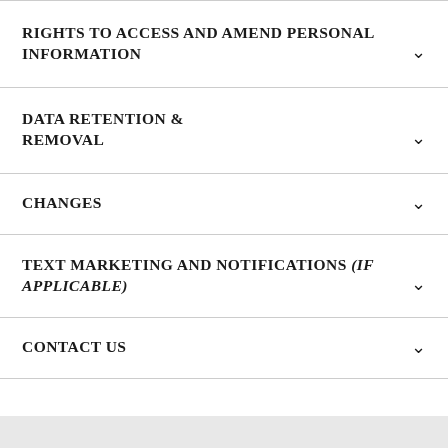RIGHTS TO ACCESS AND AMEND PERSONAL INFORMATION
DATA RETENTION & REMOVAL
CHANGES
TEXT MARKETING AND NOTIFICATIONS (If Applicable)
CONTACT US